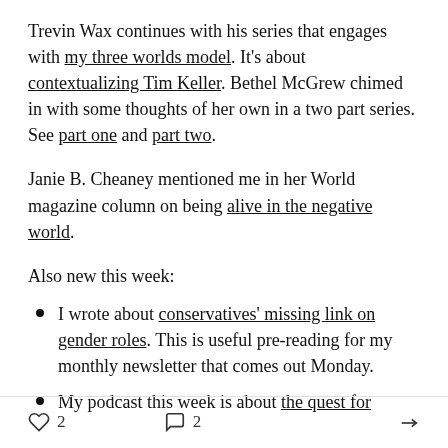Trevin Wax continues with his series that engages with my three worlds model. It's about contextualizing Tim Keller. Bethel McGrew chimed in with some thoughts of her own in a two part series. See part one and part two.
Janie B. Cheaney mentioned me in her World magazine column on being alive in the negative world.
Also new this week:
I wrote about conservatives' missing link on gender roles. This is useful pre-reading for my monthly newsletter that comes out Monday.
My podcast this week is about the quest for
♡ 2   💬 2   ↗